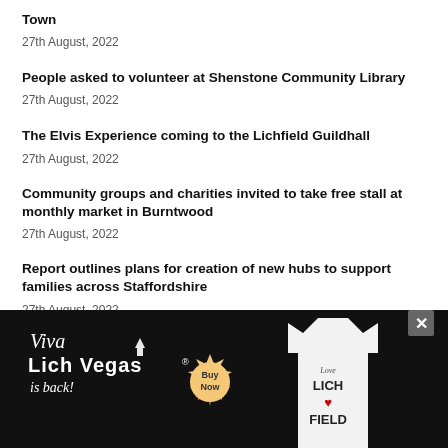Town
27th August, 2022
People asked to volunteer at Shenstone Community Library
27th August, 2022
The Elvis Experience coming to the Lichfield Guildhall
27th August, 2022
Community groups and charities invited to take free stall at monthly market in Burntwood
27th August, 2022
Report outlines plans for creation of new hubs to support families across Staffordshire
27th August, 2022
Youngsters to learn how to grow their own fruit in workshop at Shenstone garden centre
[Figure (illustration): Viva Lich Vegas is back! advertisement banner with a Buy Now badge and a Love Lichfield t-shirt image on dark background]